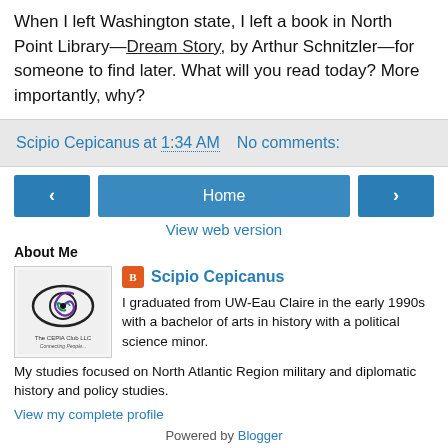When I left Washington state, I left a book in North Point Library—Dream Story, by Arthur Schnitzler—for someone to find later. What will you read today? More importantly, why?
Scipio Cepicanus at 1:34 AM   No comments:
[Figure (screenshot): Navigation buttons: left arrow, Home, right arrow, and View web version link]
About Me
[Figure (logo): The CEPIA Club LLC logo with eye and spiral design]
Scipio Cepicanus
I graduated from UW-Eau Claire in the early 1990s with a bachelor of arts in history with a political science minor. My studies focused on North Atlantic Region military and diplomatic history and policy studies.
View my complete profile
Powered by Blogger